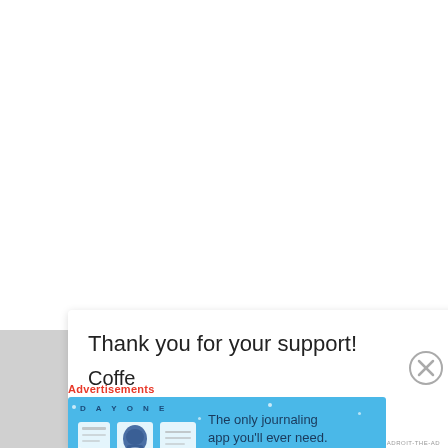Thank you for your support!
Coff...
Advertisements
[Figure (screenshot): Day One journaling app advertisement banner with blue background, app icons, and text 'The only journaling app you'll ever need.']